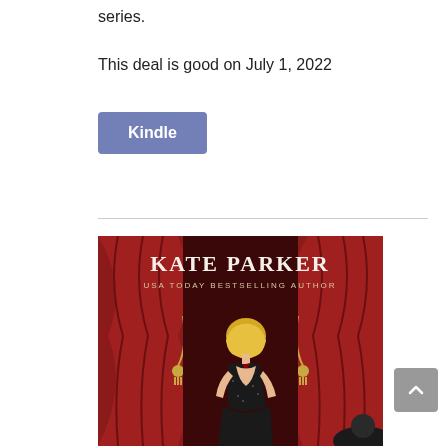series.
This deal is good on July 1, 2022
[Figure (screenshot): A blue/purple button labeled 'Kindle']
[Figure (illustration): Book cover for Kate Parker, USA Today Bestselling Author, showing a woman in a black dress standing in front of red curtains]